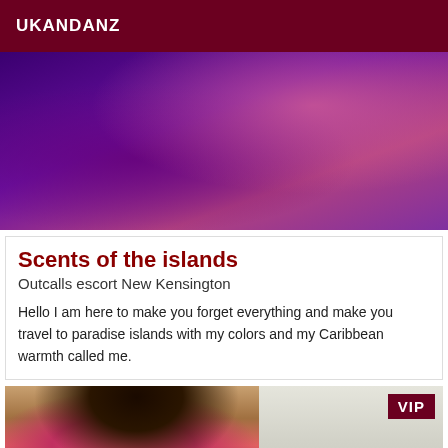UKANDANZ
[Figure (photo): Blurred purple and pink abstract photo, likely a person in purple/pink tones]
Scents of the islands
Outcalls escort New Kensington
Hello I am here to make you forget everything and make you travel to paradise islands with my colors and my Caribbean warmth called me.
[Figure (photo): Photo of a woman with curly hair wearing a pink top, with a VIP badge in the top right corner]